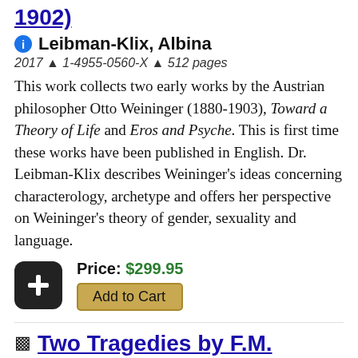1902)
Leibman-Klix, Albina
2017 ▲ 1-4955-0560-X ▲ 512 pages
This work collects two early works by the Austrian philosopher Otto Weininger (1880-1903), Toward a Theory of Life and Eros and Psyche. This is first time these works have been published in English. Dr. Leibman-Klix describes Weininger's ideas concerning characterology, archetype and offers her perspective on Weininger's theory of gender, sexuality and language.
Price: $299.95
Add to Cart
Two Tragedies by F.M. Klinger in English Translation: A